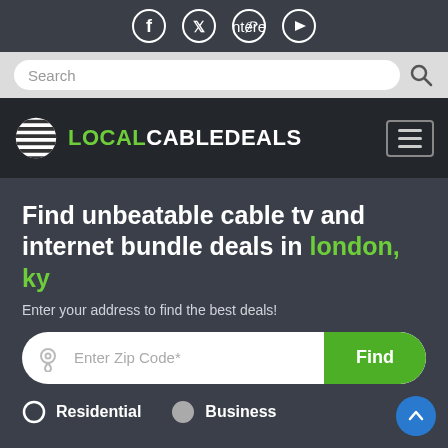[Figure (screenshot): Social media icons: Facebook, Twitter, Pinterest, YouTube in circles on dark background]
[Figure (screenshot): Search bar with placeholder text 'Search' and magnifying glass icon on light grey background]
[Figure (logo): LocalCableDeals logo with striped globe icon, LOCAL in green, CABLEDEALS in white, hamburger menu icon]
Find unbeatable cable tv and internet bundle deals in london, ky
Enter your address to find the best deals!
[Figure (screenshot): Zip code entry field with location pin icon and green Find button]
Residential   Business